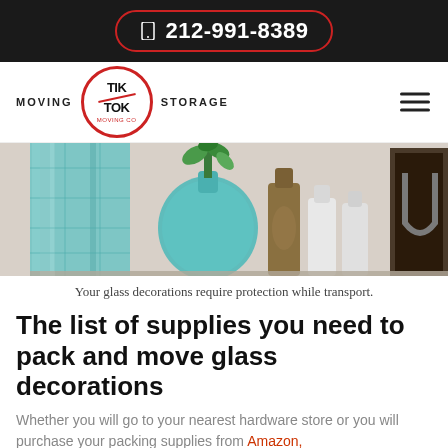212-991-8389
[Figure (logo): Tik Tok Moving & Storage logo with red circle, hamburger menu icon on right]
[Figure (photo): Glass decorations including teal/turquoise glass bottles and vases, a plant, a bronze bottle, white bottles, on a shelf]
Your glass decorations require protection while transport.
The list of supplies you need to pack and move glass decorations
Whether you will go to your nearest hardware store or you will purchase your packing supplies from Amazon,